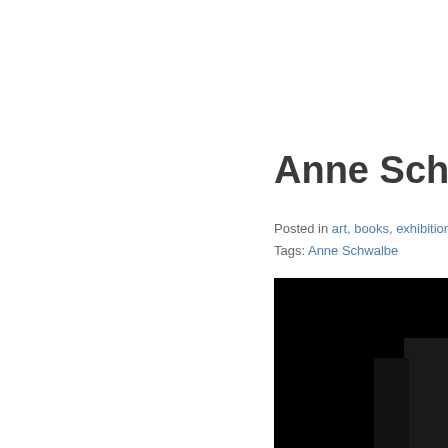Anne Schwalb
Posted in art, books, exhibition
Tags: Anne Schwalbe
[Figure (photo): A dark/black photograph, largely black with some figure or subject visible, cropped at the right edge of the page]